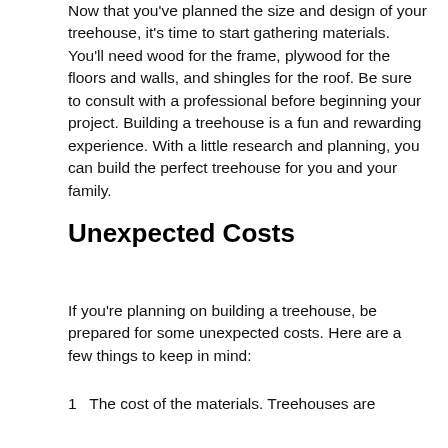Now that you've planned the size and design of your treehouse, it's time to start gathering materials. You'll need wood for the frame, plywood for the floors and walls, and shingles for the roof. Be sure to consult with a professional before beginning your project. Building a treehouse is a fun and rewarding experience. With a little research and planning, you can build the perfect treehouse for you and your family.
Unexpected Costs
If you're planning on building a treehouse, be prepared for some unexpected costs. Here are a few things to keep in mind:
1  The cost of the materials. Treehouses are
[Figure (screenshot): Ad overlay with 'Search for' header, two blue-numbered rows: 1 Work at Home, 2 Free Credit Report, each with a blue arrow, and a send icon at the bottom right.]